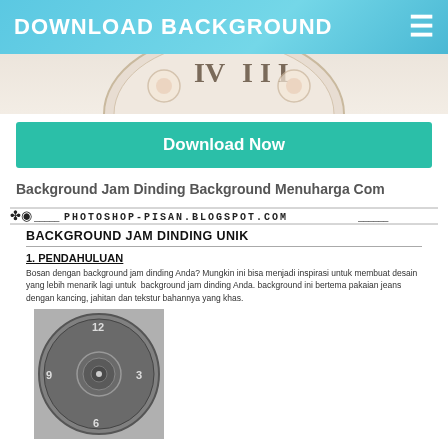DOWNLOAD BACKGROUND
[Figure (photo): Partial view of a decorative floral wall clock face with roman numerals]
Download Now
Background Jam Dinding Background Menuharga Com
[Figure (other): Watermark banner: decorative ornament followed by PHOTOSHOP-PISAN.BLOGSPOT.COM text with horizontal lines]
BACKGROUND JAM DINDING UNIK
1. PENDAHULUAN
Bosan dengan background jam dinding Anda? Mungkin ini bisa menjadi inspirasi untuk membuat desain yang lebih menarik lagi untuk background jam dinding Anda. background ini bertema pakaian jeans dengan kancing, jahitan dan tekstur bahannya yang khas.
[Figure (photo): Circular clock face with dark textured background showing numbers 12, 3, 6, 9 and decorative center design]
2. PERSIAPAN